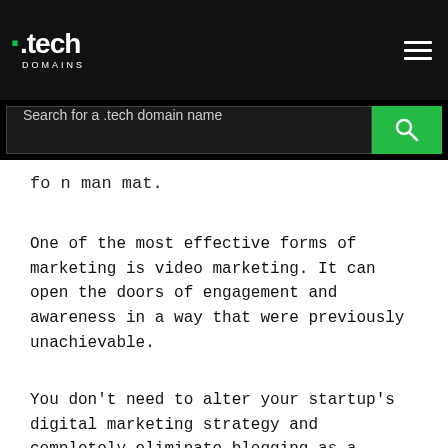[Figure (logo): .tech DOMAINS logo on black header bar with hamburger menu icon]
[Figure (screenshot): Search bar with placeholder 'Search for a .tech domain name' and green search button]
fo n man mat.
One of the most effective forms of marketing is video marketing. It can open the doors of engagement and awareness in a way that were previously unachievable.
You don't need to alter your startup's digital marketing strategy and completely eliminate blogging as a marketing practice. However, including video marketing in your marketing strategy could be a great idea along with starting a tech blog or